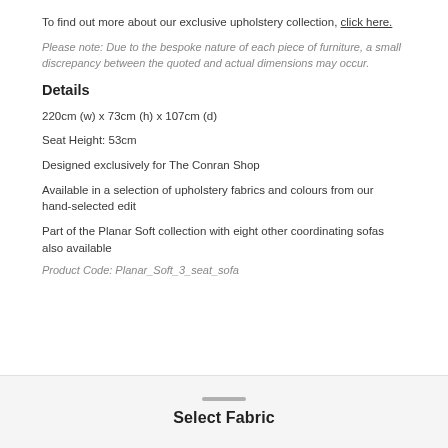To find out more about our exclusive upholstery collection, click here.
Please note: Due to the bespoke nature of each piece of furniture, a small discrepancy between the quoted and actual dimensions may occur.
Details
220cm (w) x 73cm (h) x 107cm (d)
Seat Height: 53cm
Designed exclusively for The Conran Shop
Available in a selection of upholstery fabrics and colours from our hand-selected edit
Part of the Planar Soft collection with eight other coordinating sofas also available
Product Code: Planar_Soft_3_seat_sofa
Select Fabric